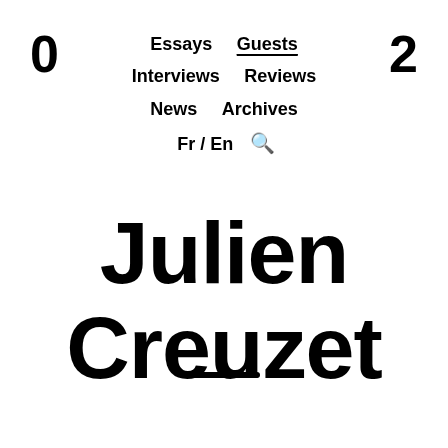0
2
Essays  Guests  Interviews  Reviews  News  Archives  Fr / En
Julien Creuzet
[Figure (other): Horizontal dash/rule separator line]